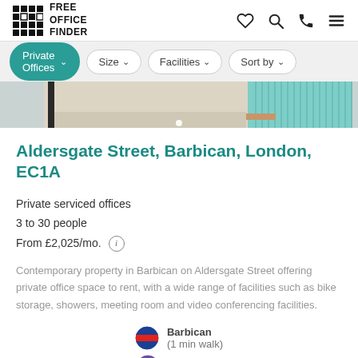Free Office Finder
Private Offices
Size
Facilities
Sort by
[Figure (photo): Interior office photo showing reception/lounge area with teal/turquoise vertical slat panel and light wooden accents]
Aldersgate Street, Barbican, London, EC1A
Private serviced offices
3 to 30 people
From £2,025/mo.
Contemporary property in Barbican on Aldersgate Street offering private office space to rent, with a wide range of facilities such as bike storage, showers, meeting room and video conferencing facilities.
Barbican (1 min walk)
Farringdon